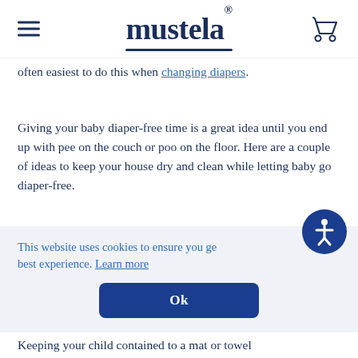Mustela
often easiest to do this when changing diapers.
Giving your baby diaper-free time is a great idea until you end up with pee on the couch or poo on the floor. Here are a couple of ideas to keep your house dry and clean while letting baby go diaper-free.
First of all, don't have diaper-free time on your bed,
This website uses cookies to ensure you get the best experience. Learn more
Ok
Keeping your child contained to a mat or towel